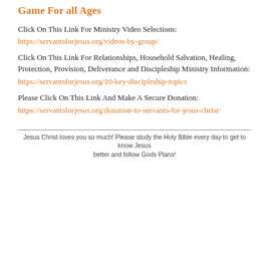Game For all Ages
Click On This Link For Ministry Video Selections:
https://servantsforjesus.org/videos-by-group/
Click On This Link For Relationships, Household Salvation, Healing, Protection, Provision, Deliverance and Discipleship Ministry Information:
https://servantsforjesus.org/10-key-discipleship-topics
Please Click On This Link And Make A Secure Donation:
https://servantsforjesus.org/donation-to-servants-for-jesus-christ/
Jesus Christ loves you so much! Please study the Holy Bible every day to get to know Jesus better and follow Gods Plans!